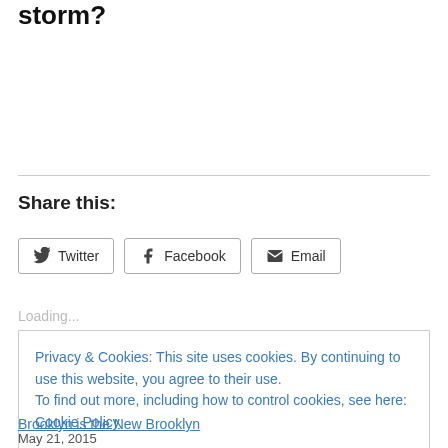storm?
Share this:
Twitter  Facebook  Email
Loading...
Privacy & Cookies: This site uses cookies. By continuing to use this website, you agree to their use.
To find out more, including how to control cookies, see here: Cookie Policy
Close and accept
Brooklyn is the New Brooklyn
May 21, 2015